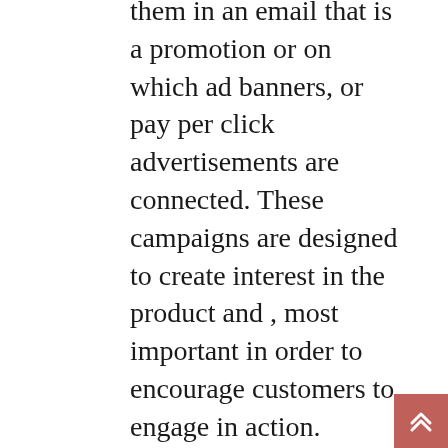them in an email that is a promotion or on which ad banners, or pay per click advertisements are connected. These campaigns are designed to create interest in the product and , most important in order to encourage customers to engage in action. https://vipacc.id are usually the sites where people are converted into paying customers.

A poor landing page can make or break even the most effective ads and email marketing campaigns. It's like taking your horse into the